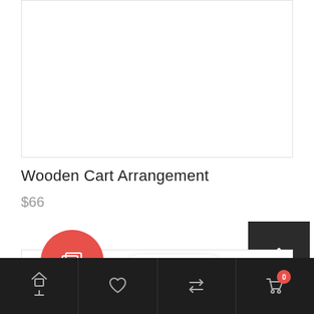[Figure (photo): White empty product image area with light border]
Wooden Cart Arrangement
$66
[Figure (screenshot): Dark scroll-to-top button with upward chevron arrow]
[Figure (photo): Second product image area, partially visible]
[Figure (screenshot): Bottom navigation bar with contact us popup, red circle icon, home/wishlist/compare/cart icons]
Contact us